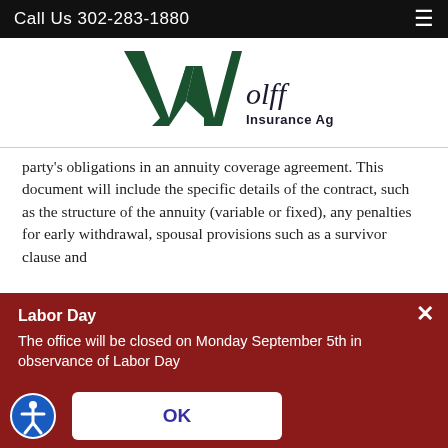Call Us 302-283-1880
[Figure (logo): Wolff Insurance Agency logo with large green W and text 'Wolff Insurance Agency']
party's obligations in an annuity coverage agreement. This document will include the specific details of the contract, such as the structure of the annuity (variable or fixed), any penalties for early withdrawal, spousal provisions such as a survivor clause and
Labor Day
The office will be closed on Monday September 5th in observance of Labor Day
OK